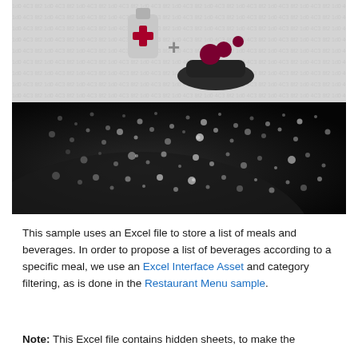[Figure (illustration): Top half: medical/health icon on gray patterned background showing a cross symbol and a hand holding hearts. Bottom half: dark close-up photograph of a surface covered in water droplets.]
This sample uses an Excel file to store a list of meals and beverages. In order to propose a list of beverages according to a specific meal, we use an Excel Interface Asset and category filtering, as is done in the Restaurant Menu sample.
Note: This Excel file contains hidden sheets, to make the